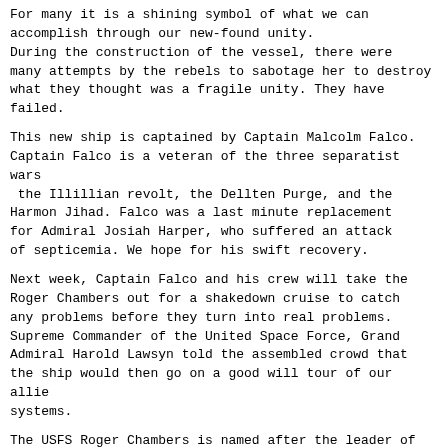For many it is a shining symbol of what we can accomplish through our new-found unity. During the construction of the vessel, there were many attempts by the rebels to sabotage her to destroy what they thought was a fragile unity. They have failed.
This new ship is captained by Captain Malcolm Falco. Captain Falco is a veteran of the three separatist wars the Illillian revolt, the Dellten Purge, and the Harmon Jihad. Falco was a last minute replacement for Admiral Josiah Harper, who suffered an attack of septicemia. We hope for his swift recovery.
Next week, Captain Falco and his crew will take the Roger Chambers out for a shakedown cruise to catch any problems before they turn into real problems. Supreme Commander of the United Space Force, Grand Admiral Harold Lawsyn told the assembled crowd that the ship would then go on a good will tour of our allie systems.
The USFS Roger Chambers is named after the leader of th expedition that colonized Jurjen Prime. Chambers and fifteen others where the only survivors of the colonysh Qek-7. They managed to survive for three years before a second expedition arrived from Karnik.
END BROADCAST